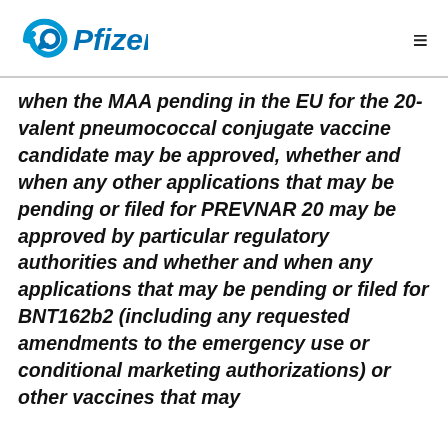Pfizer
when the MAA pending in the EU for the 20-valent pneumococcal conjugate vaccine candidate may be approved, whether and when any other applications that may be pending or filed for PREVNAR 20 may be approved by particular regulatory authorities and whether and when any applications that may be pending or filed for BNT162b2 (including any requested amendments to the emergency use or conditional marketing authorizations) or other vaccines that may